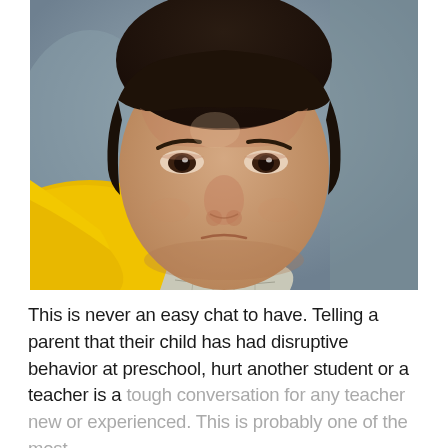[Figure (photo): Close-up photo of a young boy with dark hair looking up at the camera with an angry or sullen expression, wearing a yellow hoodie and a plaid shirt underneath. Blurred background.]
This is never an easy chat to have. Telling a parent that their child has had disruptive behavior at preschool, hurt another student or a teacher is a tough conversation for any teacher new or experienced. This is probably one of the most